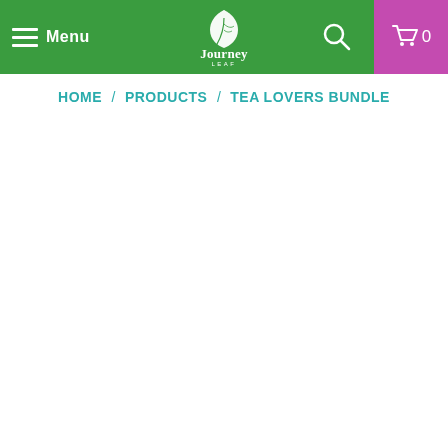Menu | Journey Leaf | Search | Cart 0
HOME / PRODUCTS / TEA LOVERS BUNDLE